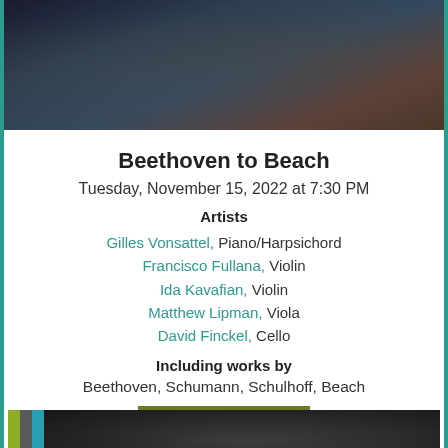[Figure (photo): Dark concert photo showing musicians, partial view from above, dark tones]
Beethoven to Beach
Tuesday, November 15, 2022 at 7:30 PM
Artists
Gilles Vonsattel, Piano/Harpsichord
Francisco Fullana, Violin
Ida Kavafian, Violin
Matthew Lipman, Viola
David Finckel, Cello
Including works by
Beethoven, Schumann, Schulhoff, Beach
BUY TICKETS
[Figure (photo): Bottom strip showing partial concert photo with color bars (yellow, gray, teal) on the left]